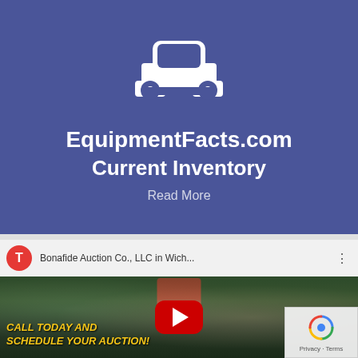[Figure (illustration): Purple/indigo banner with white car icon at top, showing a front-view car silhouette with headlights and bumper cutouts]
EquipmentFacts.com Current Inventory
Read More
[Figure (screenshot): YouTube video embed thumbnail showing Bonafide Auction Co., LLC in Wich... with red play button, a person in a suit, green farm equipment in background, text overlay CALL TODAY AND SCHEDULE YOUR AUCTION! in yellow italic, and reCAPTCHA Privacy-Terms overlay in bottom right]